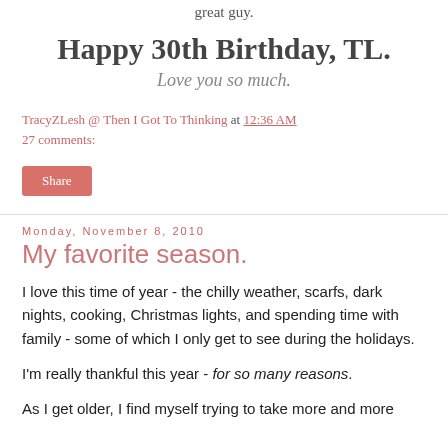great guy.
Happy 30th Birthday, TL.
Love you so much.
TracyZLesh @ Then I Got To Thinking at 12:36 AM
27 comments:
Share
Monday, November 8, 2010
My favorite season.
I love this time of year - the chilly weather, scarfs, dark nights, cooking, Christmas lights, and spending time with family - some of which I only get to see during the holidays.
I'm really thankful this year - for so many reasons.
As I get older, I find myself trying to take more and more